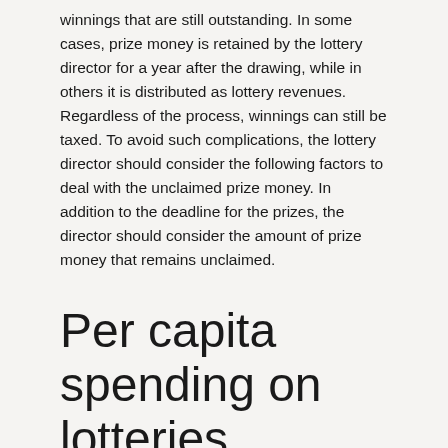winnings that are still outstanding. In some cases, prize money is retained by the lottery director for a year after the drawing, while in others it is distributed as lottery revenues. Regardless of the process, winnings can still be taxed. To avoid such complications, the lottery director should consider the following factors to deal with the unclaimed prize money. In addition to the deadline for the prizes, the director should consider the amount of prize money that remains unclaimed.
Per capita spending on lotteries
Per capita spending on lotteries varies considerably by state. States like North Dakota spend as little as $1 per